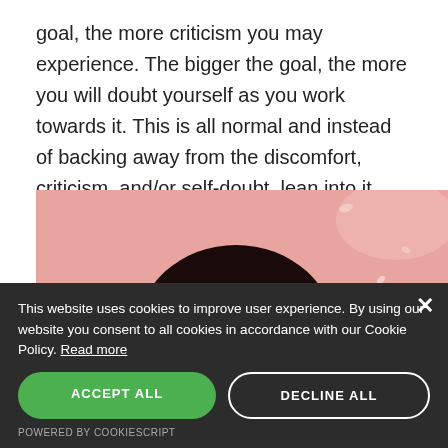goal, the more criticism you may experience. The bigger the goal, the more you will doubt yourself as you work towards it. This is all normal and instead of backing away from the discomfort, criticism, and/or self-doubt, lean into it.
[Figure (photo): A person with curly hair looking upward against a pink background with white confetti falling around them, partially cropped at the bottom of the image.]
This website uses cookies to improve user experience. By using our website you consent to all cookies in accordance with our Cookie Policy. Read more